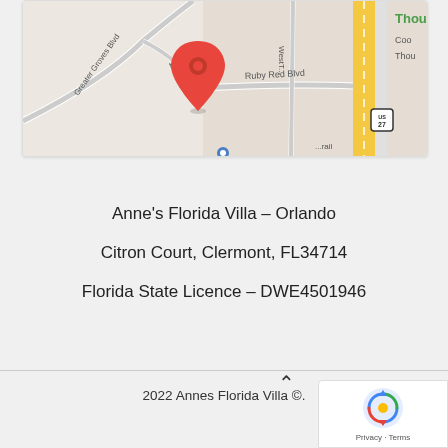[Figure (map): Google Maps screenshot showing location near Greater Groves Blvd, Mercott Ct, Ruby Red Blvd, and US-27, with a red location pin marker. Green text shows 'Thou' (partial). Yellow road indicates US-27 highway.]
Anne's Florida Villa – Orlando
Citron Court, Clermont, FL34714
Florida State Licence – DWE4501946
2022 Annes Florida Villa ©.